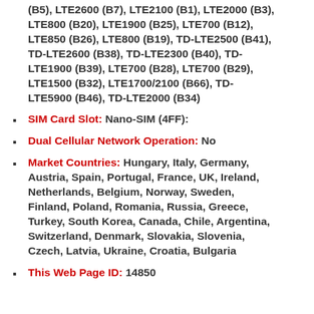(continuation) LTE800 (B20), LTE1900 (B25), LTE700 (B12), LTE850 (B26), LTE800 (B19), TD-LTE2500 (B41), TD-LTE2600 (B38), TD-LTE2300 (B40), TD-LTE1900 (B39), LTE700 (B28), LTE700 (B29), LTE1500 (B32), LTE1700/2100 (B66), TD-LTE5900 (B46), TD-LTE2000 (B34)
SIM Card Slot: Nano-SIM (4FF):
Dual Cellular Network Operation: No
Market Countries: Hungary, Italy, Germany, Austria, Spain, Portugal, France, UK, Ireland, Netherlands, Belgium, Norway, Sweden, Finland, Poland, Romania, Russia, Greece, Turkey, South Korea, Canada, Chile, Argentina, Switzerland, Denmark, Slovakia, Slovenia, Czech, Latvia, Ukraine, Croatia, Bulgaria
This Web Page ID: 14850